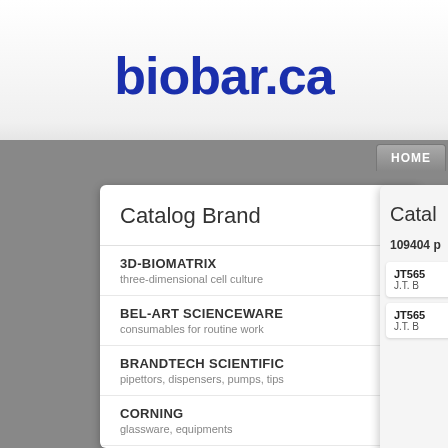biobar.ca
HOME
Catalog Brand
3D-BIOMATRIX — three-dimensional cell culture
BEL-ART SCIENCEWARE — consumables for routine work
BRANDTECH SCIENTIFIC — pipettors, dispensers, pumps, tips
CORNING — glassware, equipments
Catal
109404 p
JT565  J.T. B
JT565  J.T. B